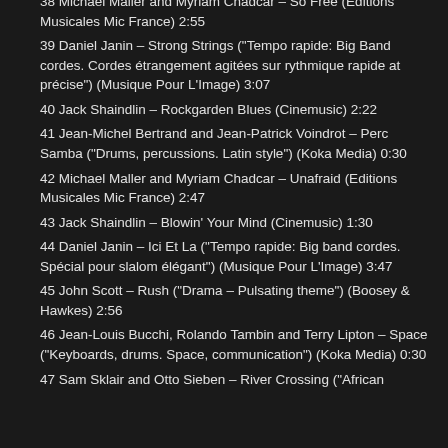38 Michael Maller and Myriam Chadcar – So Free (Editions Musicales Mic France) 2:55
39 Daniel Janin – Strong Strings ("Tempo rapide: Big Band cordes. Cordes étrangement agitées sur rythmique rapide at précise") (Musique Pour L'Image) 3:07
40 Jack Shaindlin – Rockgarden Blues (Cinemusic) 2:22
41 Jean-Michel Bertrand and Jean-Patrick Voindrot – Perc Samba ("Drums, percussions. Latin style") (Koka Media) 0:30
42 Michael Maller and Myriam Chadcar – Unafraid (Editions Musicales Mic France) 2:47
43 Jack Shaindlin – Blowin' Your Mind (Cinemusic) 1:30
44 Daniel Janin – Ici Et La ("Tempo rapide: Big band cordes. Spécial pour slalom élégant") (Musique Pour L'Image) 3:47
45 John Scott – Rush ("Drama – Pulsating theme") (Boosey & Hawkes) 2:56
46 Jean-Louis Bucchi, Rolando Tambin and Terry Lipton – Space ("Keyboards, drums. Space, communication") (Koka Media) 0:30
47 Sam Sklair and Otto Sieben – River Crossing ("African